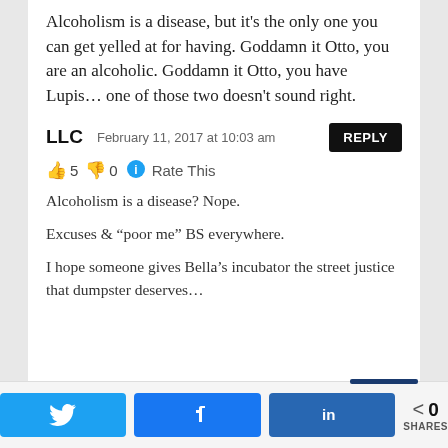Alcoholism is a disease, but it's the only one you can get yelled at for having. Goddamn it Otto, you are an alcoholic. Goddamn it Otto, you have Lupis… one of those two doesn't sound right.
LLC   February 11, 2017 at 10:03 am   REPLY
👍 5  👎 0  ℹ️ Rate This
Alcoholism is a disease? Nope.

Excuses & “poor me” BS everywhere.

I hope someone gives Bella’s incubator the street justice that dumpster deserves…
Twitter share  Facebook share  LinkedIn share  < 0 SHARES